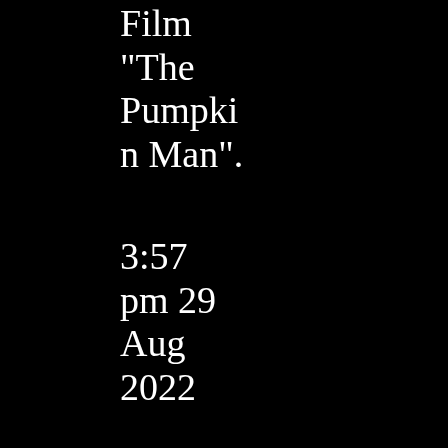Film “The Pumpkin Man”.
3:57 pm 29 Aug 2022
Check Out the Gore of ‘Pussy Cake’.
10:21